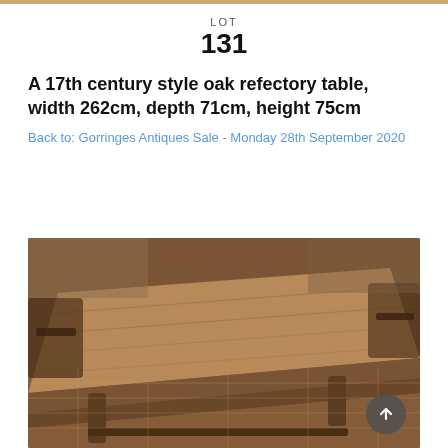LOT
131
A 17th century style oak refectory table, width 262cm, depth 71cm, height 75cm
Back to: Gorringes Antiques Sale - Monday 28th September 2020
[Figure (photo): Photograph of a 17th century style oak refectory table, shown from above at an angle, with antique chairs around it, in a sale room setting with patterned carpet visible.]